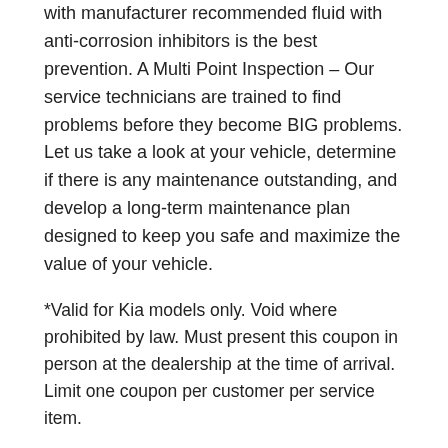with manufacturer recommended fluid with anti-corrosion inhibitors is the best prevention. A Multi Point Inspection – Our service technicians are trained to find problems before they become BIG problems. Let us take a look at your vehicle, determine if there is any maintenance outstanding, and develop a long-term maintenance plan designed to keep you safe and maximize the value of your vehicle.
*Valid for Kia models only. Void where prohibited by law. Must present this coupon in person at the dealership at the time of arrival. Limit one coupon per customer per service item.
Also Check: Pottery Barn Promotion Codes 2016
Kia Country Of Savannah Senior Discount